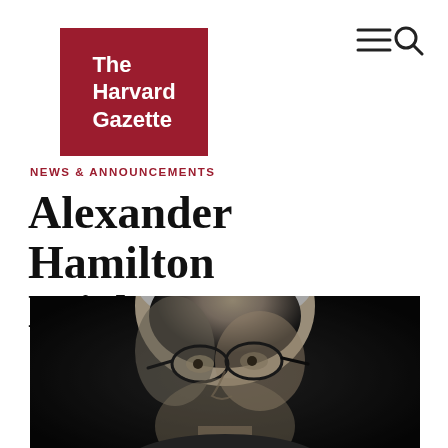[Figure (logo): The Harvard Gazette logo — dark red square with white bold text reading 'The Harvard Gazette']
[Figure (other): Navigation icons: hamburger menu lines and search magnifying glass icon in top right corner]
NEWS & ANNOUNCEMENTS
Alexander Hamilton Leighton
[Figure (photo): Black and white close-up photograph of an elderly man with white hair wearing glasses, shown from the shoulders up against a dark background]